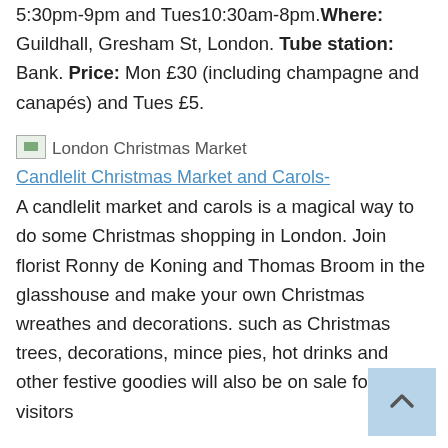5:30pm-9pm and Tues10:30am-8pm. Where: Guildhall, Gresham St, London. Tube station: Bank. Price: Mon £30 (including champagne and canapés) and Tues £5.
[Figure (photo): Small broken image placeholder labeled 'London Christmas Market']
Candlelit Christmas Market and Carols- A candlelit market and carols is a magical way to do some Christmas shopping in London. Join florist Ronny de Koning and Thomas Broom in the glasshouse and make your own Christmas wreathes and decorations. such as Christmas trees, decorations, mince pies, hot drinks and other festive goodies will also be on sale for visitors